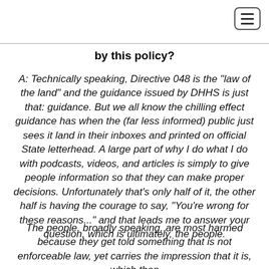by this policy?
A: Technically speaking, Directive 048 is the "law of the land" and the guidance issued by DHHS is just that: guidance. But we all know the chilling effect guidance has when the (far less informed) public just sees it land in their inboxes and printed on official State letterhead. A large part of why I do what I do with podcasts, videos, and articles is simply to give people information so that they can make proper decisions. Unfortunately that's only half of it, the other half is having the courage to say, "You're wrong for these reasons..." and that leads me to answer your question, which is ultimately, the people.
The people, broadly speaking, are most harmed because they get told something that is not enforceable law, yet carries the impression that it is, which then